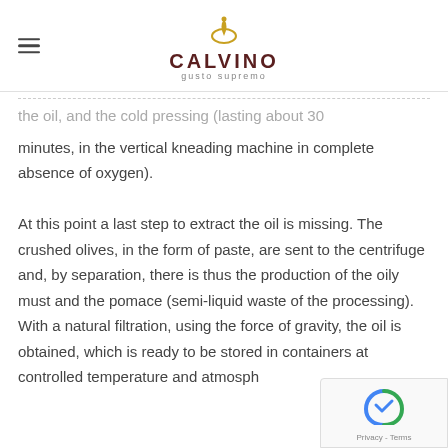CALVINO gusto supremo
the oil, and the cold pressing (lasting about 30 minutes, in the vertical kneading machine in complete absence of oxygen).
At this point a last step to extract the oil is missing. The crushed olives, in the form of paste, are sent to the centrifuge and, by separation, there is thus the production of the oily must and the pomace (semi-liquid waste of the processing). With a natural filtration, using the force of gravity, the oil is obtained, which is ready to be stored in containers at controlled temperature and atmosph…